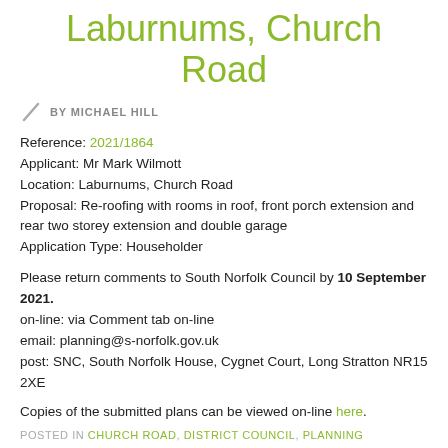Laburnums, Church Road
BY MICHAEL HILL
Reference: 2021/1864
Applicant: Mr Mark Wilmott
Location: Laburnums, Church Road
Proposal: Re-roofing with rooms in roof, front porch extension and rear two storey extension and double garage
Application Type: Householder
Please return comments to South Norfolk Council by 10 September 2021.
on-line: via Comment tab on-line
email: planning@s-norfolk.gov.uk
post: SNC, South Norfolk House, Cygnet Court, Long Stratton NR15 2XE
Copies of the submitted plans can be viewed on-line here.
POSTED IN CHURCH ROAD, DISTRICT COUNCIL, PLANNING